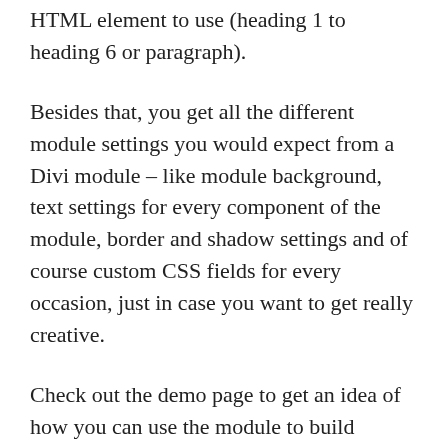HTML element to use (heading 1 to heading 6 or paragraph).
Besides that, you get all the different module settings you would expect from a Divi module – like module background, text settings for every component of the module, border and shadow settings and of course custom CSS fields for every occasion, just in case you want to get really creative.
Check out the demo page to get an idea of how you can use the module to build fabulous websites.
We are proud of our modules and we do our best to give you exactly the tools you need – and these tools should and must work! That is why